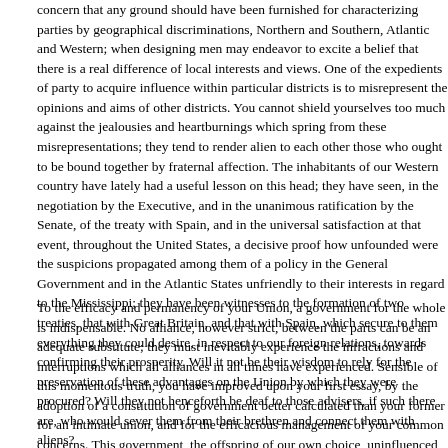concern that any ground should have been furnished for characterizing parties by geographical discriminations, Northern and Southern, Atlantic and Western; when designing men may endeavor to excite a belief that there is a real difference of local interests and views. One of the expedients of party to acquire influence within particular districts is to misrepresent the opinions and aims of other districts. You cannot shield yourselves too much against the jealousies and heartburnings which spring from these misrepresentations; they tend to render alien to each other those who ought to be bound together by fraternal affection. The inhabitants of our Western country have lately had a useful lesson on this head; they have seen, in the negotiation by the Executive, and in the unanimous ratification by the Senate, of the treaty with Spain, and in the universal satisfaction at that event, throughout the United States, a decisive proof how unfounded were the suspicions propagated among them of a policy in the General Government and in the Atlantic States unfriendly to their interests in regard to the Mississippi; they have been witnesses to the formation of two treaties, that with Great Britain, and that with Spain, which secure to them everything they could desire, in respect to our foreign relations, towards confirming their prosperity. Will it not be their wisdom to rely for the preservation of these advantages on the Union by which they were procured? Will they not henceforth be deaf to those advisers, if such there are, who would sever them from their brethren and connect them with aliens?
To the efficacy and permanency of your Union, a government for the whole is indispensable. No alliance, however strict, between the parts can be an adequate substitute; they must inevitably experience the infractions and interruptions which all alliances in all times have experienced. Sensible of this momentous truth, you have improved upon your first essay, by the adoption of a constitution of government better calculated than your former for an intimate union, and for the efficacious management of your common concerns. This government, the offspring of our own choice, uninfluenced